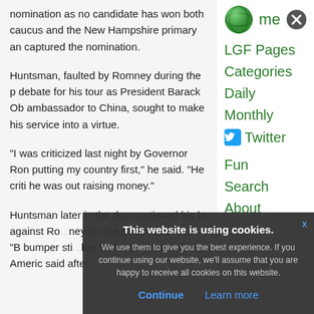nomination as no candidate has won both caucus and the New Hampshire primary and captured the nomination.
Huntsman, faulted by Romney during the primary debate for his tour as President Barack Obama's ambassador to China, sought to make his service into a virtue.
“I was criticized last night by Governor Romney for putting my country first,” he said. “He criticized me while he was out raising money.”
Huntsman later in the day continued his broadside against Romney on the issue of service. “B...bumper sticker that says Proud of America...” said after...
Home
LGF Pages
Categories
Daily
Monthly
Twitter
Fun
Search
About
This website is using cookies. We use them to give you the best experience. If you continue using our website, we’ll assume that you are happy to receive all cookies on this website.
Continue
Learn more